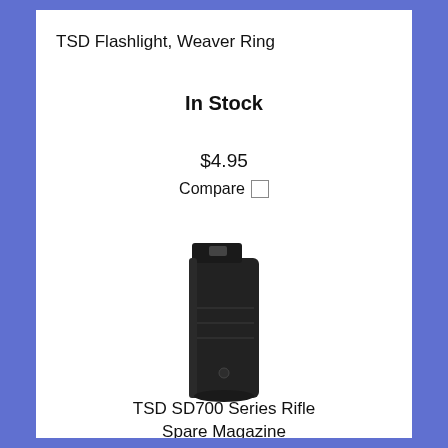TSD Flashlight, Weaver Ring
In Stock
$4.95
Compare
[Figure (photo): Black TSD SD700 Series Rifle Spare Magazine, vertical orientation, dark plastic body with rail mount at top]
TSD SD700 Series Rifle Spare Magazine